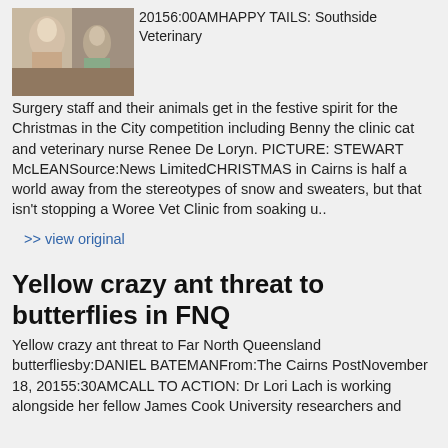[Figure (photo): Photo of veterinary surgery staff with animals in festive spirit]
20156:00AMHAPPY TAILS: Southside Veterinary Surgery staff and their animals get in the festive spirit for the Christmas in the City competition including Benny the clinic cat and veterinary nurse Renee De Loryn. PICTURE: STEWART McLEANSource:News LimitedCHRISTMAS in Cairns is half a world away from the stereotypes of snow and sweaters, but that isn't stopping a Woree Vet Clinic from soaking u..
>> view original
Yellow crazy ant threat to butterflies in FNQ
Yellow crazy ant threat to Far North Queensland butterfliesby:DANIEL BATEMANFrom:The Cairns PostNovember 18, 20155:30AMCALL TO ACTION: Dr Lori Lach is working alongside her fellow James Cook University researchers and